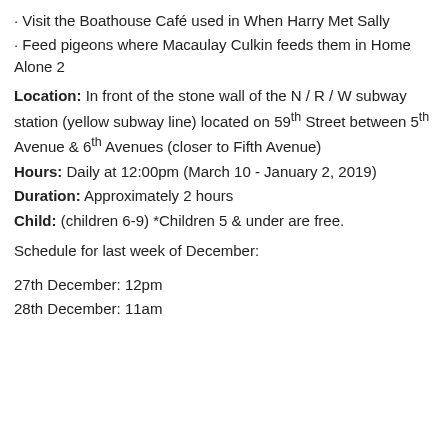· Visit the Boathouse Café used in When Harry Met Sally
· Feed pigeons where Macaulay Culkin feeds them in Home Alone 2
Location: In front of the stone wall of the N / R / W subway station (yellow subway line) located on 59th Street between 5th Avenue & 6th Avenues (closer to Fifth Avenue)
Hours: Daily at 12:00pm (March 10 - January 2, 2019)
Duration: Approximately 2 hours
Child: (children 6-9) *Children 5 & under are free.
Schedule for last week of December:
27th December: 12pm
28th December: 11am